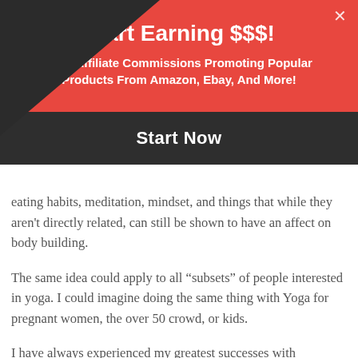Start Earning $$$!
Earn Affiliate Commissions Promoting Popular Products From Amazon, Ebay, And More!
Start Now
eating habits, meditation, mindset, and things that while they aren't directly related, can still be shown to have an affect on body building.
The same idea could apply to all “subsets” of people interested in yoga. I could imagine doing the same thing with Yoga for pregnant women, the over 50 crowd, or kids.
I have always experienced my greatest successes with recurring subscription services, so those would be my main targets for making money. A paid